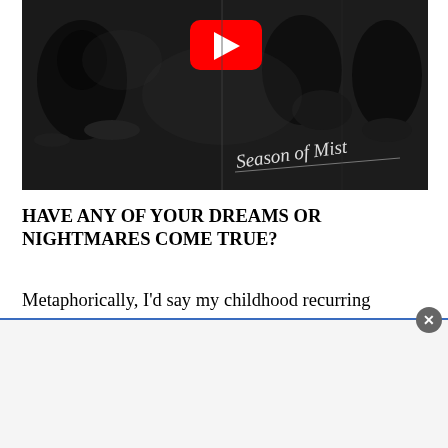[Figure (photo): Black and white photo of a band performing on stage, with a YouTube play button overlay in the center and 'Season of Mist' cursive logo in the lower right corner.]
HAVE ANY OF YOUR DREAMS OR NIGHTMARES COME TRUE?
Metaphorically, I'd say my childhood recurring nightmare is in a perpetual state of coming true. It's a constantly battle to stave off the blockheads and not become one ... even though people you know might have fallen victim.